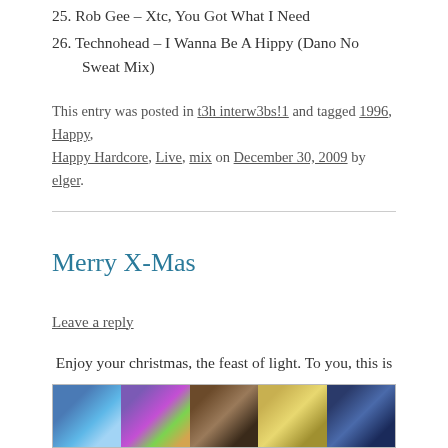25. Rob Gee – Xtc, You Got What I Need
26. Technohead – I Wanna Be A Hippy (Dano No Sweat Mix)
This entry was posted in t3h interw3bs!1 and tagged 1996, Happy, Happy Hardcore, Live, mix on December 30, 2009 by elger.
Merry X-Mas
Leave a reply
Enjoy your christmas, the feast of light. To you, this is my card. (high-res version)
[Figure (photo): A horizontal strip of colorful photographic images showing abstract and festive scenes.]